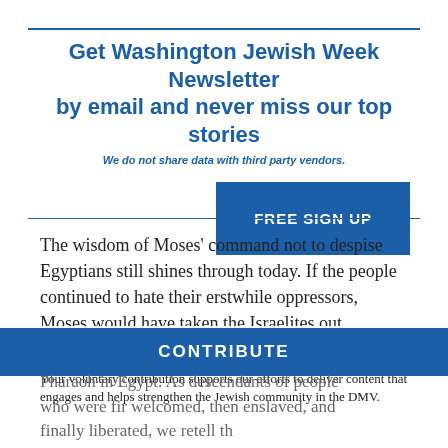Get Washington Jewish Week Newsletter by email and never miss our top stories
We do not share data with third party vendors.
FREE SIGN UP
The wisdom of Moses' command not to despise Egyptians still shines through today. If the people continued to hate their erstwhile oppressors, Moses would have taken the Israelites out
WASHINGTON JEWISH WEEK IS HERE FOR YOU
Your voluntary contribution supports our efforts to deliver content that engages and helps strengthen the Jewish community in the DMV.
CONTRIBUTE
Pharaoh in Egypt. As descendants of people who were fir welcomed, then enslaved, and finally liberated, we retell th